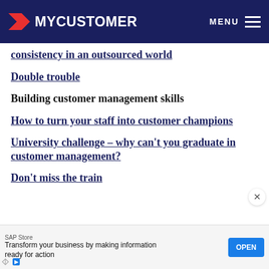MYCUSTOMER MENU
consistency in an outsourced world
Double trouble
Building customer management skills
How to turn your staff into customer champions
University challenge – why can't you graduate in customer management?
Don't miss the train
SAP Store
Transform your business by making information ready for action
OPEN